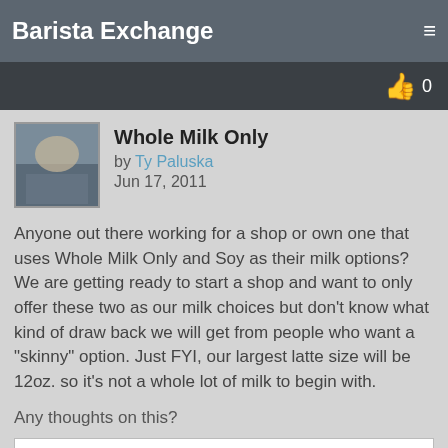Barista Exchange
Whole Milk Only
by Ty Paluska
Jun 17, 2011
Anyone out there working for a shop or own one that uses Whole Milk Only and Soy as their milk options?  We are getting ready to start a shop and want to only offer these two as our milk choices but don't know what kind of draw back we will get from people who want a "skinny" option.  Just FYI, our largest latte size will be 12oz. so it's not a whole lot of milk to begin with.
Any thoughts on this?